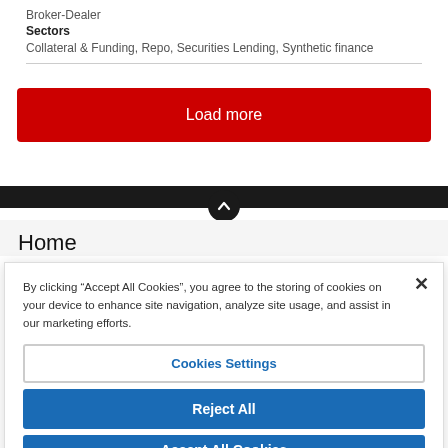Broker-Dealer
Sectors
Collateral & Funding, Repo, Securities Lending, Synthetic finance
Load more
Home
By clicking “Accept All Cookies”, you agree to the storing of cookies on your device to enhance site navigation, analyze site usage, and assist in our marketing efforts.
Cookies Settings
Reject All
Accept All Cookies